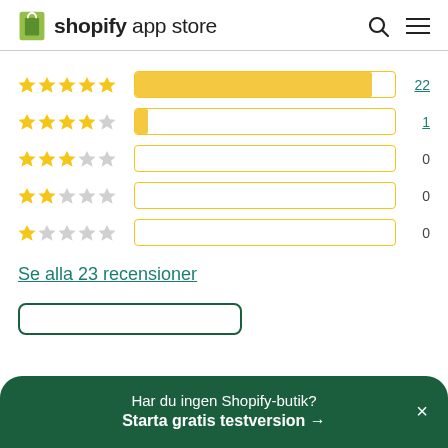shopify app store
[Figure (bar-chart): Star ratings distribution]
Se alla 23 recensioner
Har du ingen Shopify-butik?
Starta gratis testversion →